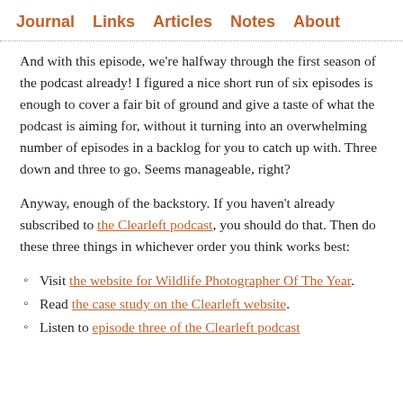Journal   Links   Articles   Notes   About
And with this episode, we're halfway through the first season of the podcast already! I figured a nice short run of six episodes is enough to cover a fair bit of ground and give a taste of what the podcast is aiming for, without it turning into an overwhelming number of episodes in a backlog for you to catch up with. Three down and three to go. Seems manageable, right?
Anyway, enough of the backstory. If you haven't already subscribed to the Clearleft podcast, you should do that. Then do these three things in whichever order you think works best:
Visit the website for Wildlife Photographer Of The Year.
Read the case study on the Clearleft website.
Listen to episode three of the Clearleft podcast